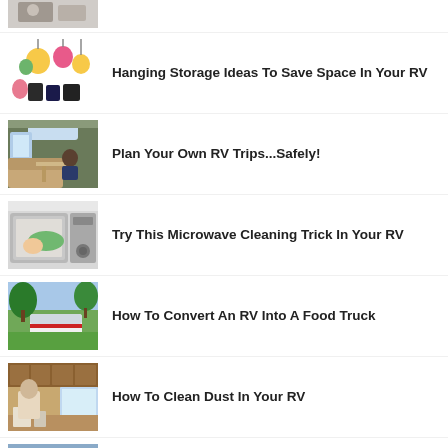[Figure (photo): Partial thumbnail at top, cropped]
[Figure (photo): Hanging storage items in RV]
Hanging Storage Ideas To Save Space In Your RV
[Figure (photo): Interior of RV with skylight]
Plan Your Own RV Trips...Safely!
[Figure (photo): Hand cleaning microwave with green cloth]
Try This Microwave Cleaning Trick In Your RV
[Figure (photo): RV converted into food truck outdoors under trees]
How To Convert An RV Into A Food Truck
[Figure (photo): RV interior kitchen with wood cabinets]
How To Clean Dust In Your RV
[Figure (photo): Scenic mountain road with RV or camper]
Can You Reuse Coffee Grounds While Camping?